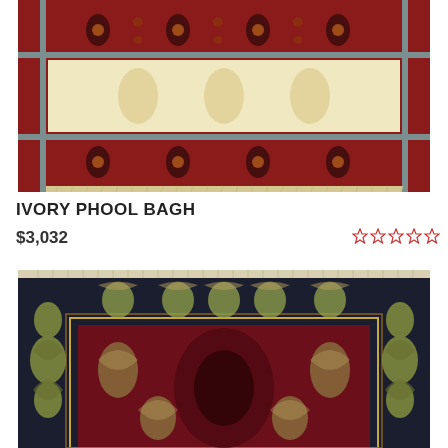[Figure (photo): Top portion of an ivory and red Persian/Indian rug (Ivory Phool Bagh) showing floral border pattern with cream center and red border with dark floral motifs, fringe visible at bottom]
IVORY PHOOL BAGH
$3,032
[Figure (other): Five empty/outline star rating icons in red/pink color]
[Figure (photo): Bottom portion showing a dark navy and deep red Persian/Indian rug with intricate floral and vine patterns, gold/green floral motifs on dark navy border, rich red center field with medallion design. WhatsApp icon overlaid in bottom-left corner.]